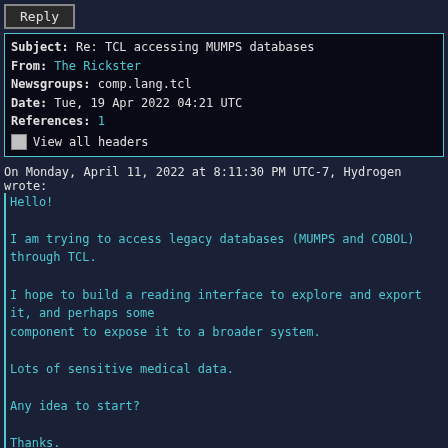Reply
| Field | Value |
| --- | --- |
| Subject: | Re: TCL accessing MUMPS databases |
| From: | The Rickster |
| Newsgroups: | comp.lang.tcl |
| Date: | Tue, 19 Apr 2022 04:21 UTC |
| References: | 1 |
|  | View all headers |
On Monday, April 11, 2022 at 8:11:30 PM UTC-7, Hydrogen wrote:
Hello!

I am trying to access legacy databases (MUMPS and COBOL) through TCL.

I hope to build a reading interface to explore and export it, and perhaps some component to expose it to a broader system.

Lots of sensitive medical data.

Any idea to start?

Thanks.
What M database engine do you wish to access (Cache, FreeM, MiniM ...?)
Are you a MUMPS programmer that is capable of writing a tcp client app in mumps that would reside on your target M database system.
We have done this several ways; but need more info to be of any help.
Rick
Reply
comp.lang.tcl    1
rocksolid light 0.7.2
clearneti2ptor